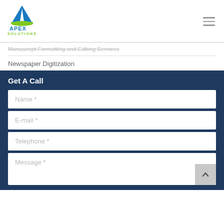[Figure (logo): Apex Solutions logo with blue triangle/book icon and green text]
Manuscript Formatting and Editing Services
Newspaper Digitization
Get A Call
Name *
E-mail *
Telephone *
Message *